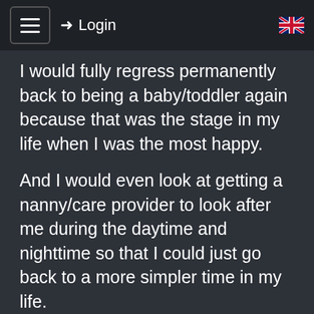☰  ➜ Login  🇬🇧
I would fully regress permanently back to being a baby/toddler again because that was the stage in my life when I was the most happy.
And I would even look at getting a nanny/care provider to look after me during the daytime and nighttime so that I could just go back to a more simpler time in my life.
Obviously this would include wearing diapers/nappies full time and also wearing a baby suit/onzie, sleeping in a crib/cott, drinking from adult sized baby bottles and maybe playing in a playpen and having a